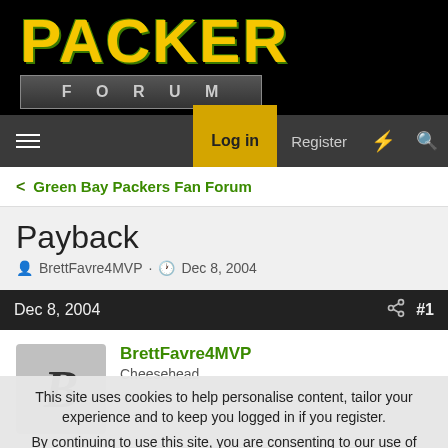[Figure (logo): Packer Forum logo with yellow PACKER text and FORUM bar on black background]
Log in | Register
< Green Bay Packers Fan Forum
Payback
BrettFavre4MVP · Dec 8, 2004
Dec 8, 2004  #1
BrettFavre4MVP
Cheesehead
This site uses cookies to help personalise content, tailor your experience and to keep you logged in if you register.
By continuing to use this site, you are consenting to our use of cookies.
✓ Accept   Learn more...